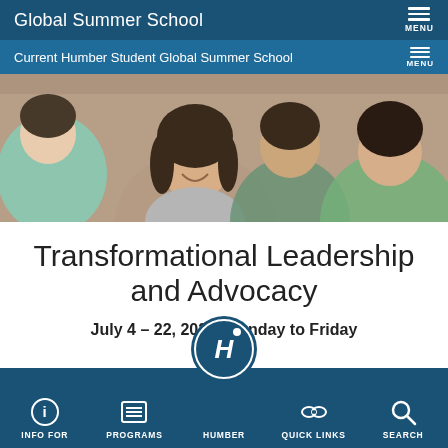Global Summer School
Current Humber Student Global Summer School
[Figure (photo): Group of students sitting together smiling and talking; a young woman with long dark hair and a plaid shirt is prominent in the center]
Transformational Leadership and Advocacy
July 4 – 22, 2022, Monday to Friday
INFO FOR  PROGRAMS  HUMBER  QUICK LINKS  SEARCH